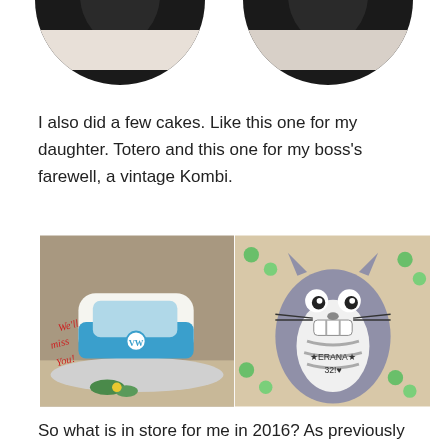[Figure (photo): Two circular profile photos at the top of the page, cropped into circles showing people in dark clothing.]
I also did a few cakes. Like this one for my daughter. Totero and this one for my boss's farewell, a vintage Kombi.
[Figure (photo): Two side-by-side cake photos: left shows a blue VW Kombi van cake on a silver board with green candy decorations and red script text; right shows a Totoro character cake with grey fondant, green candy dots, and '★ERANA★ 32!♥' written on the belly.]
So what is in store for me in 2016? As previously mentioned on this blog, I am commencing candidature for a higher research degree (PHD). That starts in February. I